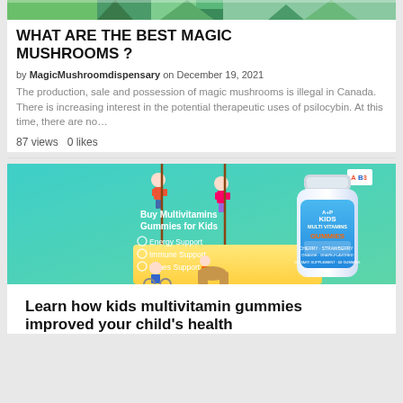[Figure (photo): Partial top image strip showing colorful nature/mushroom scene with green foliage]
WHAT ARE THE BEST MAGIC MUSHROOMS ?
by MagicMushroomdispensary on December 19, 2021
The production, sale and possession of magic mushrooms is illegal in Canada. There is increasing interest in the potential therapeutic uses of psilocybin. At this time, there are no…
87 views  0 likes
[Figure (advertisement): Advertisement for Kids Multivitamin Gummies showing cartoon children climbing ropes, a vitamin bottle, text: Buy Multivitamins Gummies for Kids, Energy Support, Immune Support, Bones Support]
Learn how kids multivitamin gummies improved your child's health